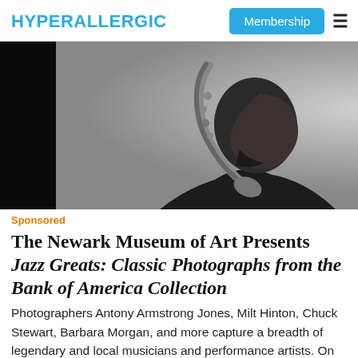HYPERALLERGIC
[Figure (photo): Black and white photograph of a jazz musician in profile, holding a saxophone over his shoulder, wearing a suit, with a beard, dramatic lighting against a grey background.]
Sponsored
The Newark Museum of Art Presents Jazz Greats: Classic Photographs from the Bank of America Collection
Photographers Antony Armstrong Jones, Milt Hinton, Chuck Stewart, Barbara Morgan, and more capture a breadth of legendary and local musicians and performance artists. On view